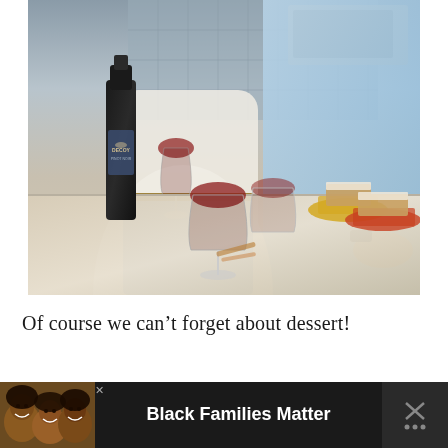[Figure (photo): Two people standing at a kitchen counter. A woman in a white sweater holds a glass of red wine; a man in a light blue t-shirt stands across from her. On the granite counter sit a bottle of Decoy wine, two wine glasses with red wine, and two plates with slices of cake. Kitchen appliances and a knife block are visible in the background.]
Of course we can’t forget about dessert!
[Figure (photo): Advertisement bar at the bottom of the page. Dark background with a photo of smiling people on the left, bold white text reading 'Black Families Matter' in the center, a small close (x) button, and an X/close icon with dots on the right side.]